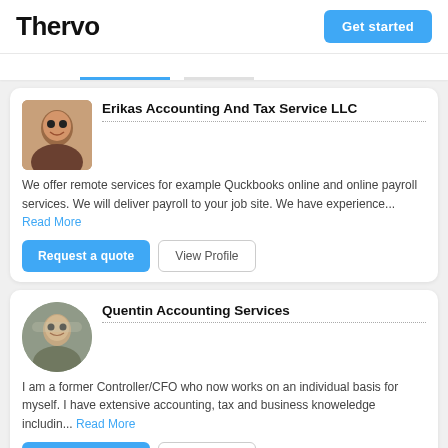Thervo | Get started
Erikas Accounting And Tax Service LLC
We offer remote services for example Quckbooks online and online payroll services. We will deliver payroll to your job site. We have experience... Read More
Quentin Accounting Services
I am a former Controller/CFO who now works on an individual basis for myself. I have extensive accounting, tax and business knoweledge includin... Read More